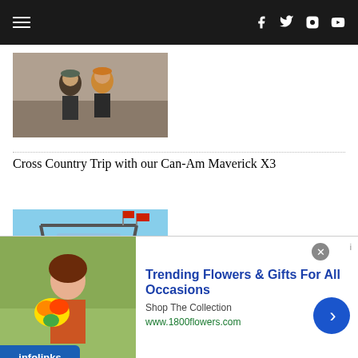Navigation bar with hamburger menu and social icons (Facebook, Twitter, Instagram, YouTube)
[Figure (photo): Two people standing outdoors in rocky terrain, wearing casual clothes and hats]
Cross Country Trip with our Can-Am Maverick X3
[Figure (photo): People riding in a Can-Am Maverick X3 off-road vehicle with flags visible, blue sky background]
Four-Day Southern Utah Adventure Ride
[Figure (photo): Partial view of another article's thumbnail image]
[Figure (infographic): Advertisement banner: Trending Flowers & Gifts For All Occasions — Shop The Collection — www.1800flowers.com, with photo of woman holding flowers and a blue arrow button. Infolinks badge visible.]